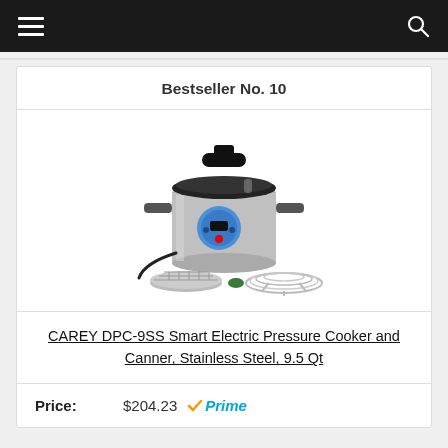Bestseller No. 10
[Figure (photo): CAREY DPC-9SS Smart Electric Pressure Cooker and Canner, Stainless Steel, 9.5 Qt product photo showing the unit with accessories including a steaming rack and trivet]
CAREY DPC-9SS Smart Electric Pressure Cooker and Canner, Stainless Steel, 9.5 Qt
Price: $204.23 Prime